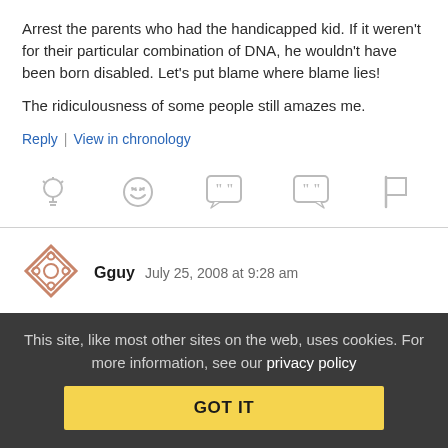Arrest the parents who had the handicapped kid. If it weren't for their particular combination of DNA, he wouldn't have been born disabled. Let's put blame where blame lies!

The ridiculousness of some people still amazes me.
Reply | View in chronology
[Figure (other): Row of 5 action icons: lightbulb, laughing emoji, quote bubble, quote bubble variant, flag]
Gguy  July 25, 2008 at 9:28 am
Public Service
This site, like most other sites on the web, uses cookies. For more information, see our privacy policy
GOT IT